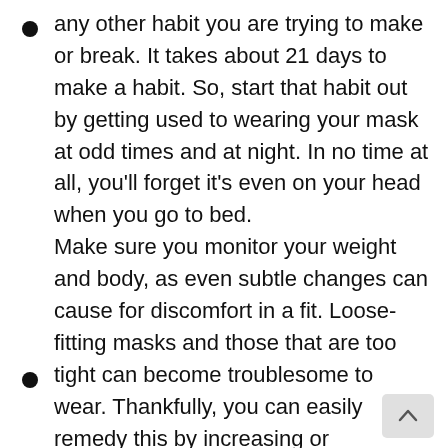any other habit you are trying to make or break. It takes about 21 days to make a habit. So, start that habit out by getting used to wearing your mask at odd times and at night. In no time at all, you'll forget it's even on your head when you go to bed.
Make sure you monitor your weight and body, as even subtle changes can cause for discomfort in a fit. Loose-fitting masks and those that are too tight can become troublesome to wear. Thankfully, you can easily remedy this by increasing or decreasing the fit of the masks you buy.
Make CPAP part of your daily routine. Certainly, it can be frustrating knowing that you have to use a CPAP